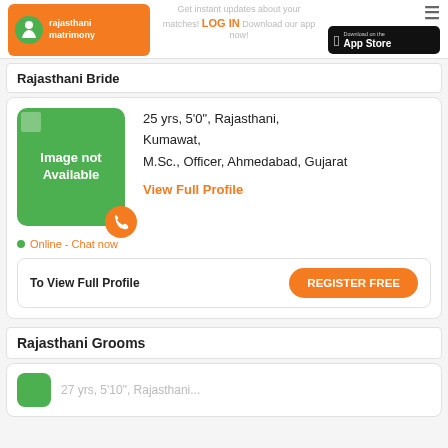rajasthani matrimony | Get instant updates about your matches! LOG IN Download our app now!
Rajasthani Bride
[Figure (infographic): Profile card with green image-not-available placeholder, phone icon button, user details: 25 yrs, 5'0", Rajasthani, Kumawat, M.Sc., Officer, Ahmedabad, Gujarat. View Full Profile link. Online - Chat now status.]
25 yrs, 5'0", Rajasthani, Kumawat, M.Sc., Officer, Ahmedabad, Gujarat
View Full Profile
Online - Chat now
To View Full Profile
REGISTER FREE
Rajasthani Grooms